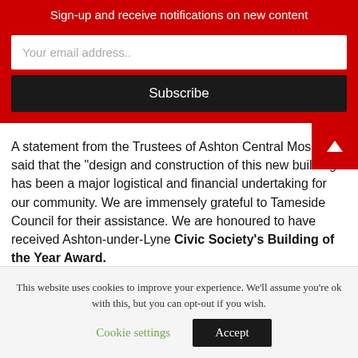Sign-up and receive notifications on new content
Your email address..
Subscribe
A statement from the Trustees of Ashton Central Mosque said that the "design and construction of this new building has been a major logistical and financial undertaking for our community. We are immensely grateful to Tameside Council for their assistance. We are honoured to have received Ashton-under-Lyne Civic Society's Building of the Year Award.
This website uses cookies to improve your experience. We'll assume you're ok with this, but you can opt-out if you wish.
Cookie settings
Accept